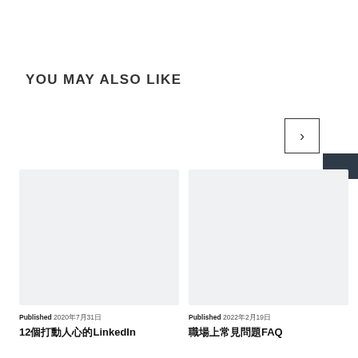YOU MAY ALSO LIKE
[Figure (illustration): Navigation arrow button (right chevron) in a square border]
[Figure (illustration): Dark share button with Chinese characters 分享 (share) on right edge]
[Figure (illustration): Left card image placeholder with light gray background]
Published 2020年7月31日
12個打動人心的LinkedIn
[Figure (illustration): Right card image placeholder with light gray background]
Published 2022年2月19日
職場上常見問題FAQ